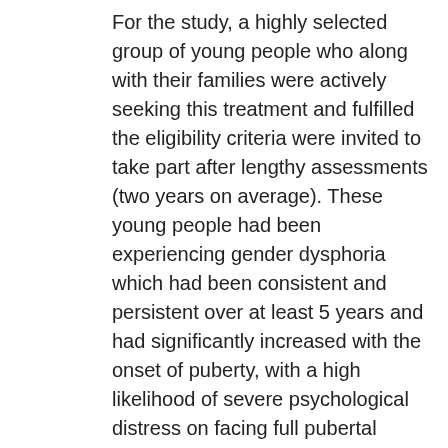For the study, a highly selected group of young people who along with their families were actively seeking this treatment and fulfilled the eligibility criteria were invited to take part after lengthy assessments (two years on average). These young people had been experiencing gender dysphoria which had been consistent and persistent over at least 5 years and had significantly increased with the onset of puberty, with a high likelihood of severe psychological distress on facing full pubertal development. A key purpose of GnRHa treatment is to pause puberty, to avoid a deterioration in wellbeing and allow for further exploration of a young person's feelings about their gender identity and their wishes for the future, without the pressure or distress which may come from further unwanted bodily changes. The lack of change observed in